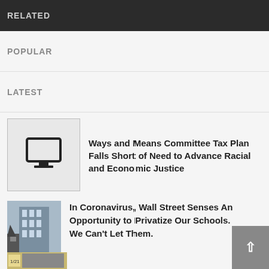RELATED
POPULAR
LATEST
[Figure (illustration): Monitor/TV screen icon inside a light gray bordered box]
Ways and Means Committee Tax Plan Falls Short of Need to Advance Racial and Economic Justice
[Figure (photo): Photo of a building with signage, shot from below against a blue sky]
In Coronavirus, Wall Street Senses An Opportunity to Privatize Our Schools. We Can't Let Them.
[Figure (photo): Partial photo of a street scene, cropped at bottom of page]